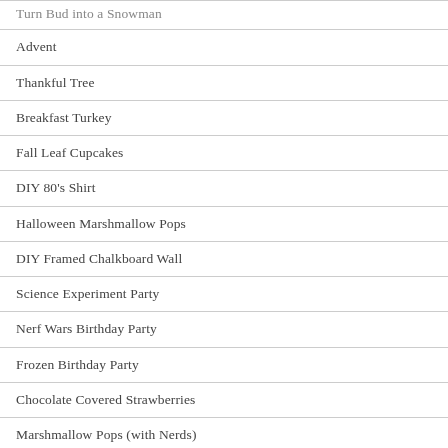Turn Bud into a Snowman
Advent
Thankful Tree
Breakfast Turkey
Fall Leaf Cupcakes
DIY 80's Shirt
Halloween Marshmallow Pops
DIY Framed Chalkboard Wall
Science Experiment Party
Nerf Wars Birthday Party
Frozen Birthday Party
Chocolate Covered Strawberries
Marshmallow Pops (with Nerds)